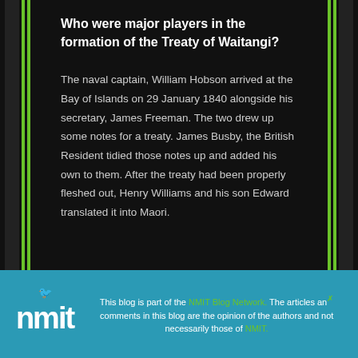Who were major players in the formation of the Treaty of Waitangi?
The naval captain, William Hobson arrived at the Bay of Islands on 29 January 1840 alongside his secretary, James Freeman. The two drew up some notes for a treaty. James Busby, the British Resident tidied those notes up and added his own to them. After the treaty had been properly fleshed out, Henry Williams and his son Edward translated it into Maori.
This blog is part of the NMIT Blog Network. The articles and comments in this blog are the opinion of the authors and not necessarily those of NMIT.